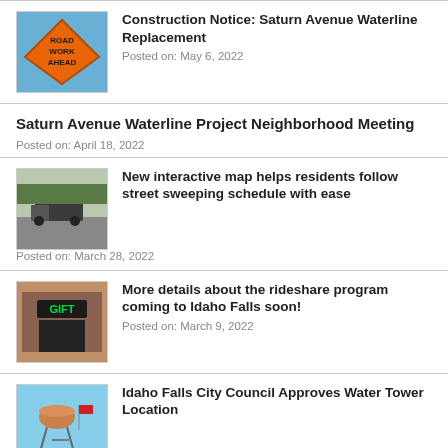[Figure (photo): Orange road work ahead diamond sign against blue sky]
Construction Notice: Saturn Avenue Waterline Replacement
Posted on: May 6, 2022
Saturn Avenue Waterline Project Neighborhood Meeting
Posted on: April 18, 2022
[Figure (photo): Street sweeping truck on a road]
New interactive map helps residents follow street sweeping schedule with ease
Posted on: March 28, 2022
[Figure (photo): Storefront with a GIFT sign]
More details about the rideshare program coming to Idaho Falls soon!
Posted on: March 9, 2022
[Figure (photo): Idaho Falls water tower with flags and flowers]
Idaho Falls City Council Approves Water Tower Location